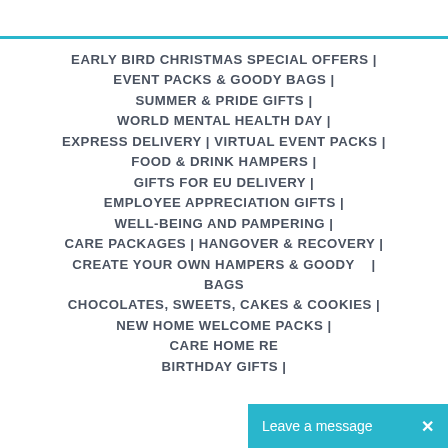EARLY BIRD CHRISTMAS SPECIAL OFFERS | EVENT PACKS & GOODY BAGS | SUMMER & PRIDE GIFTS | WORLD MENTAL HEALTH DAY | EXPRESS DELIVERY | VIRTUAL EVENT PACKS | FOOD & DRINK HAMPERS | GIFTS FOR EU DELIVERY | EMPLOYEE APPRECIATION GIFTS | WELL-BEING AND PAMPERING | CARE PACKAGES | HANGOVER & RECOVERY | CREATE YOUR OWN HAMPERS & GOODY BAGS | CHOCOLATES, SWEETS, CAKES & COOKIES | NEW HOME WELCOME PACKS | CARE HOME RE... BIRTHDAY GIFTS |